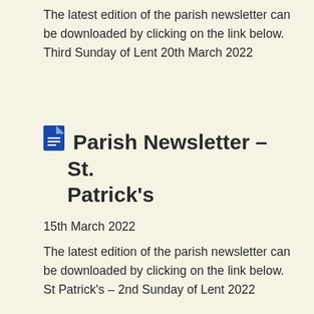The latest edition of the parish newsletter can be downloaded by clicking on the link below. Third Sunday of Lent 20th March 2022
Parish Newsletter – St. Patrick's
15th March 2022
The latest edition of the parish newsletter can be downloaded by clicking on the link below. St Patrick's – 2nd Sunday of Lent 2022